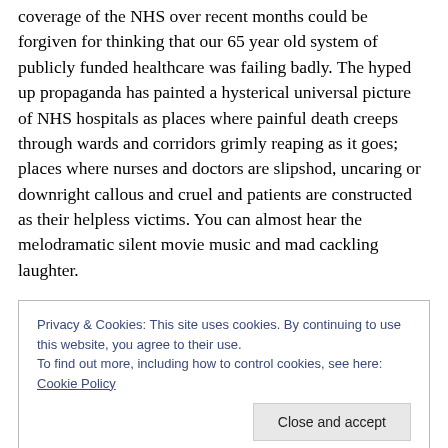coverage of the NHS over recent months could be forgiven for thinking that our 65 year old system of publicly funded healthcare was failing badly. The hyped up propaganda has painted a hysterical universal picture of NHS hospitals as places where painful death creeps through wards and corridors grimly reaping as it goes; places where nurses and doctors are slipshod, uncaring or downright callous and cruel and patients are constructed as their helpless victims. You can almost hear the melodramatic silent movie music and mad cackling laughter.
Privacy & Cookies: This site uses cookies. By continuing to use this website, you agree to their use. To find out more, including how to control cookies, see here: Cookie Policy